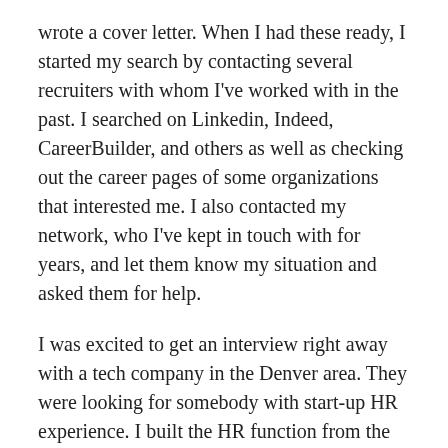wrote a cover letter. When I had these ready, I started my search by contacting several recruiters with whom I've worked with in the past. I searched on Linkedin, Indeed, CareerBuilder, and others as well as checking out the career pages of some organizations that interested me. I also contacted my network, who I've kept in touch with for years, and let them know my situation and asked them for help.
I was excited to get an interview right away with a tech company in the Denver area. They were looking for somebody with start-up HR experience. I built the HR function from the ground up at my former company so I was a prime candidate. I was thinking how great this would be to land a job within a month! No such luck. I went through the entire interview process and ended up a finalist along with one other candidate but lost out. Dang. Back to the drawing board.
My strategy is to apply to all the Senior HR jobs ranging from SR. HRBP to VP of HR. I'm applying for everything to which